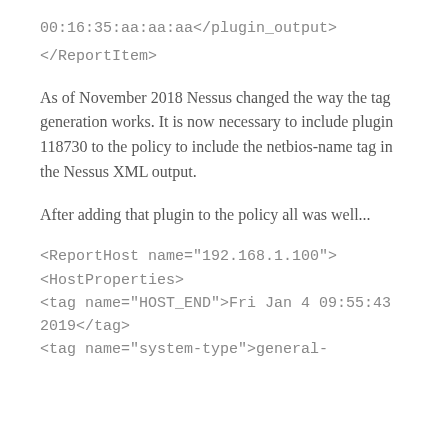00:16:35:aa:aa:aa</plugin_output>
</ReportItem>
As of November 2018 Nessus changed the way the tag generation works. It is now necessary to include plugin 118730 to the policy to include the netbios-name tag in the Nessus XML output.
After adding that plugin to the policy all was well...
<ReportHost name="192.168.1.100">
<HostProperties>
<tag name="HOST_END">Fri Jan 4 09:55:43 2019</tag>
<tag name="system-type">general-